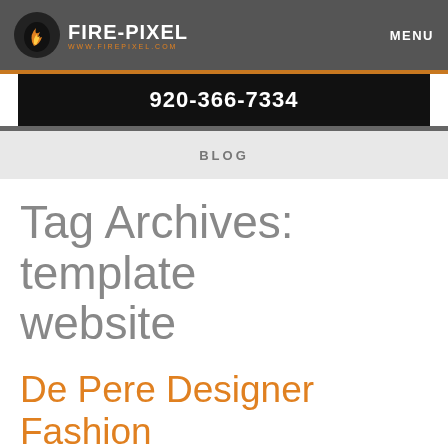FIRE-PIXEL www.firepixel.com | MENU
920-366-7334
BLOG
Tag Archives: template website
De Pere Designer Fashion Website